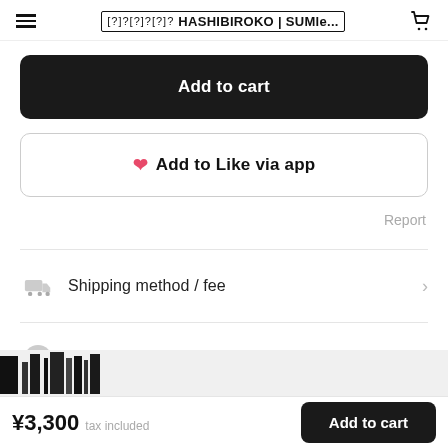橋ビロコ HASHIBIROKO | SUMle...
Add to cart
♥ Add to Like via app
Report
Shipping method / fee
Payment method
¥3,300 tax included
Add to cart